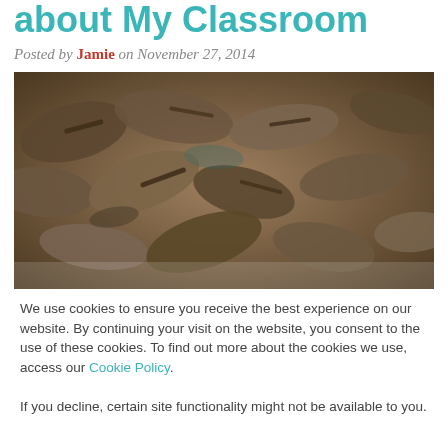about My Classroom
Posted by Jamie on November 27, 2014
[Figure (photo): Pile of worn leather shoes stacked together, likely from a Holocaust museum exhibit]
We use cookies to ensure you receive the best experience on our website. By continuing your visit on the website, you consent to the use of these cookies. To find out more about the cookies we use, access our Cookie Policy.
If you decline, certain site functionality might not be available to you.